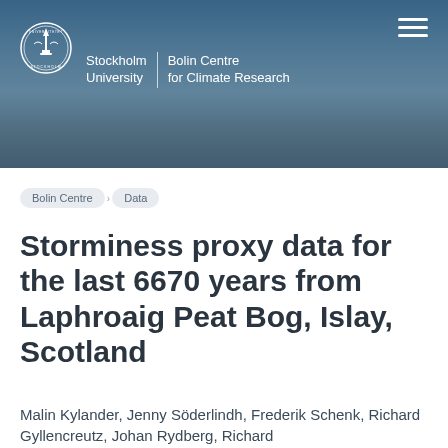[Figure (photo): Stockholm University Bolin Centre for Climate Research website header banner with landscape/sky background photo, university logo, institution name, and hamburger menu icon]
Bolin Centre > Data
Storminess proxy data for the last 6670 years from Laphroaig Peat Bog, Islay, Scotland
Malin Kylander, Jenny Söderlindh, Frederik Schenk, Richard Gyllencreutz, Johan Rydberg, Richard